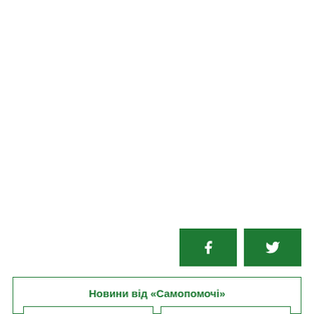[Figure (other): Two dark green social media share buttons: Facebook (f icon) and Twitter (bird icon)]
Новини від «Самопомочі»